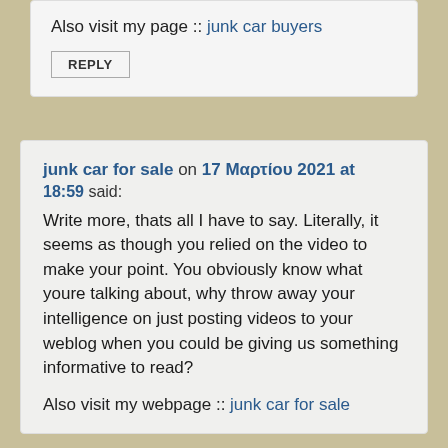Also visit my page :: junk car buyers
REPLY
junk car for sale on 17 Μαρτίου 2021 at 18:59 said:
Write more, thats all I have to say. Literally, it seems as though you relied on the video to make your point. You obviously know what youre talking about, why throw away your intelligence on just posting videos to your weblog when you could be giving us something informative to read?
Also visit my webpage :: junk car for sale